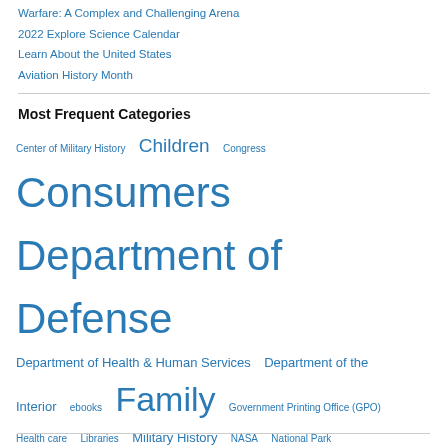Warfare: A Complex and Challenging Arena
2022 Explore Science Calendar
Learn About the United States
Aviation History Month
Most Frequent Categories
Center of Military History  Children  Congress  Consumers  Department of Defense  Department of Health & Human Services  Department of the Interior  ebooks  Family  Government Printing Office (GPO)  Health care  Libraries  Military History  NASA  National Park Service  Travel and Tourism  U.S. Army  U.S. History  U.S. Navy